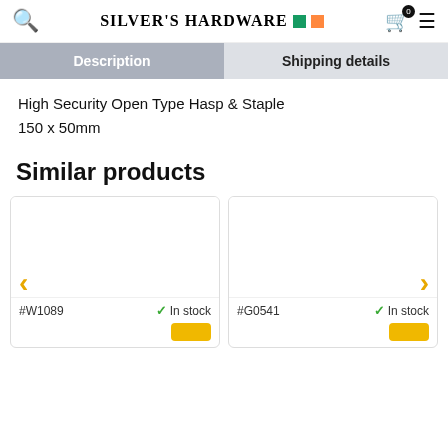Silver's Hardware
Description | Shipping details
High Security Open Type Hasp & Staple
150 x 50mm
Similar products
[Figure (screenshot): Product card #W1089, In stock, with left carousel arrow and yellow button]
[Figure (screenshot): Product card #G0541, In stock, with right carousel arrow and yellow button]